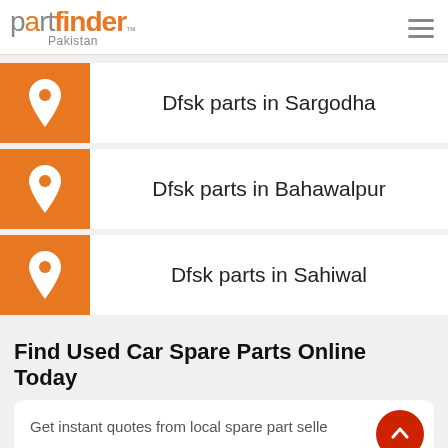partfinder Pakistan
Dfsk parts in Sargodha
Dfsk parts in Bahawalpur
Dfsk parts in Sahiwal
Find Used Car Spare Parts Online Today
Get instant quotes from local spare part sellers and compare prices in few clicks.